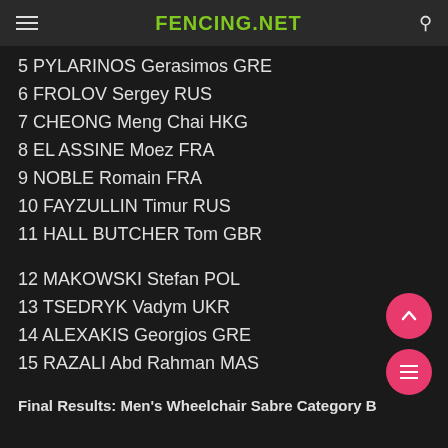FENCING.NET
5 PYLARINOS Gerasimos GRE
6 FROLOV Sergey RUS
7 CHEONG Meng Chai HKG
8 EL ASSINE Moez FRA
9 NOBLE Romain FRA
10 FAYZULLIN Timur RUS
11 HALL BUTCHER Tom GBR
12 MAKOWSKI Stefan POL
13 TSEDRYK Vadym UKR
14 ALEXAKIS Georgios GRE
15 RAZALI Abd Rahman MAS
Final Results: Men's Wheelchair Sabre Category B